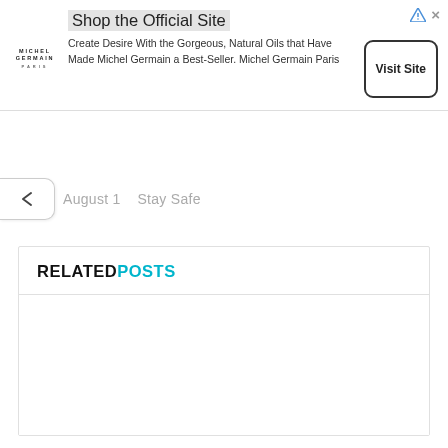[Figure (screenshot): Advertisement banner for Michel Germain Paris. Contains logo text 'MICHEL GERMAIN', headline 'Shop the Official Site', body text 'Create Desire With the Gorgeous, Natural Oils that Have Made Michel Germain a Best-Seller. Michel Germain Paris', and a 'Visit Site' button with rounded border.]
August 1   Stay Safe
RELATED POSTS